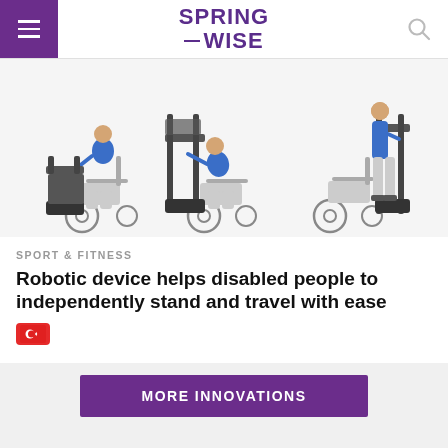SPRINGWISE
[Figure (photo): Three sequential photos of a man in a blue top demonstrating a robotic exoskeleton device that helps him transfer from a wheelchair to a standing position. Left: seated in wheelchair next to device. Center: transitioning with device raised. Right: standing upright using the device.]
SPORT & FITNESS
Robotic device helps disabled people to independently stand and travel with ease
[Figure (illustration): Turkish flag emoji/badge icon — red background with white crescent and star]
MORE INNOVATIONS